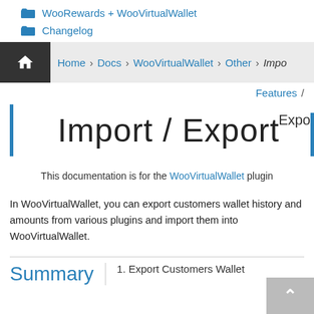WooRewards + WooVirtualWallet
Changelog
Home > Docs > WooVirtualWallet > Other > Impo... Features /
Import / Export
This documentation is for the WooVirtualWallet plugin
In WooVirtualWallet, you can export customers wallet history and amounts from various plugins and import them into WooVirtualWallet.
Summary
1. Export Customers Wallet